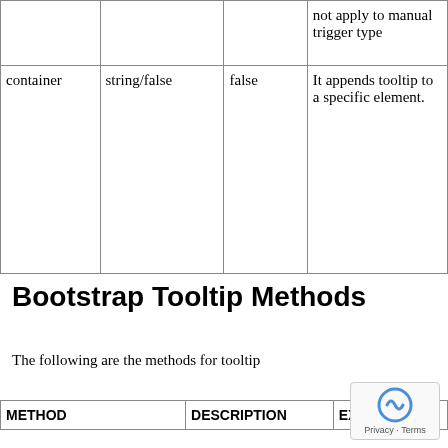|  |  |  | not apply to manual trigger type |
| container | string/false | false | It appends tooltip to a specific element. |
Bootstrap Tooltip Methods
The following are the methods for tooltip
| METHOD | DESCRIPTION | EXAMPLE |
| --- | --- | --- |